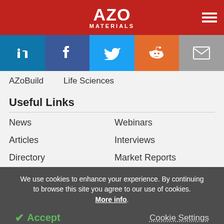AZO MATERIALS
[Figure (infographic): Social media icons bar: LinkedIn, Facebook, Twitter, Reddit, Email]
AZoBuild   Life Sciences
Useful Links
News
Webinars
Articles
Interviews
Directory
Market Reports
We use cookies to enhance your experience. By continuing to browse this site you agree to our use of cookies. More info.
✔ Accept   Cookie Settings